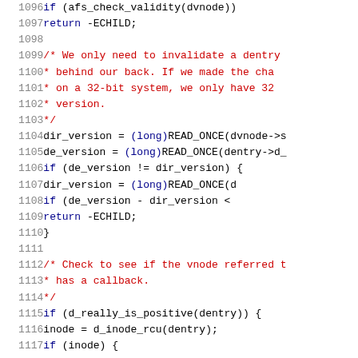[Figure (screenshot): Source code listing showing C kernel code lines 1096-1117 with line numbers on left, syntax highlighted in blue, red, and black monospace font on white background.]